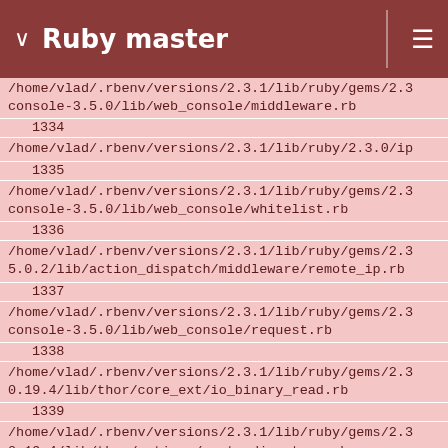Ruby master
/home/vlad/.rbenv/versions/2.3.1/lib/ruby/gems/2.3
console-3.5.0/lib/web_console/middleware.rb
    1334
/home/vlad/.rbenv/versions/2.3.1/lib/ruby/2.3.0/ip
    1335
/home/vlad/.rbenv/versions/2.3.1/lib/ruby/gems/2.3
console-3.5.0/lib/web_console/whitelist.rb
    1336
/home/vlad/.rbenv/versions/2.3.1/lib/ruby/gems/2.3
5.0.2/lib/action_dispatch/middleware/remote_ip.rb
    1337
/home/vlad/.rbenv/versions/2.3.1/lib/ruby/gems/2.3
console-3.5.0/lib/web_console/request.rb
    1338
/home/vlad/.rbenv/versions/2.3.1/lib/ruby/gems/2.3
0.19.4/lib/thor/core_ext/io_binary_read.rb
    1339
/home/vlad/.rbenv/versions/2.3.1/lib/ruby/gems/2.3
0.19.4/lib/thor/actions/empty_directory.rb
    1340
/home/vlad/.rbenv/versions/2.3.1/lib/ruby/gems/2.3
0.19.4/lib/thor/actions/create_file.rb
    1341
/home/vlad/.rbenv/versions/2.3.1/lib/ruby/gems/2.3